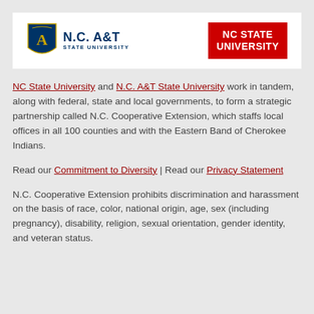[Figure (logo): NC A&T State University and NC State University logos side by side on white background]
NC State University and N.C. A&T State University work in tandem, along with federal, state and local governments, to form a strategic partnership called N.C. Cooperative Extension, which staffs local offices in all 100 counties and with the Eastern Band of Cherokee Indians.
Read our Commitment to Diversity | Read our Privacy Statement
N.C. Cooperative Extension prohibits discrimination and harassment on the basis of race, color, national origin, age, sex (including pregnancy), disability, religion, sexual orientation, gender identity, and veteran status.